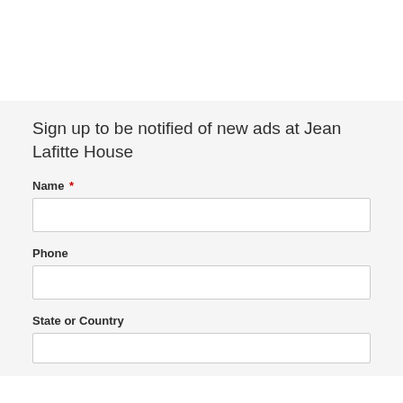Sign up to be notified of new ads at Jean Lafitte House
Name *
Phone
State or Country